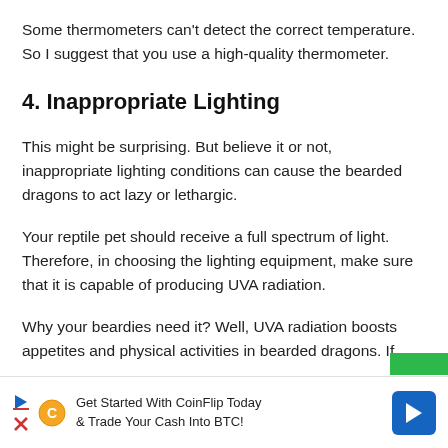Some thermometers can't detect the correct temperature. So I suggest that you use a high-quality thermometer.
4. Inappropriate Lighting
This might be surprising. But believe it or not, inappropriate lighting conditions can cause the bearded dragons to act lazy or lethargic.
Your reptile pet should receive a full spectrum of light. Therefore, in choosing the lighting equipment, make sure that it is capable of producing UVA radiation.
Why your beardies need it? Well, UVA radiation boosts appetites and physical activities in bearded dragons. If
[Figure (other): Advertisement banner for CoinFlip cryptocurrency exchange service with icons and arrow logo]